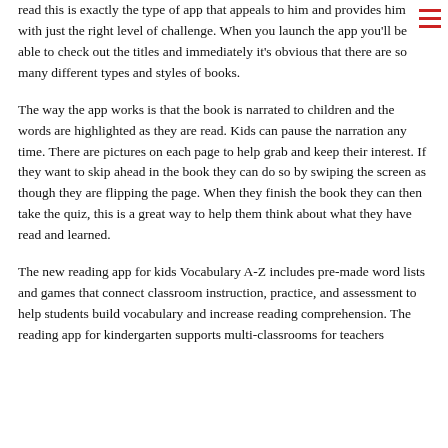read this is exactly the type of app that appeals to him and provides him with just the right level of challenge. When you launch the app you'll be able to check out the titles and immediately it's obvious that there are so many different types and styles of books.
The way the app works is that the book is narrated to children and the words are highlighted as they are read. Kids can pause the narration any time. There are pictures on each page to help grab and keep their interest. If they want to skip ahead in the book they can do so by swiping the screen as though they are flipping the page. When they finish the book they can then take the quiz, this is a great way to help them think about what they have read and learned.
The new reading app for kids Vocabulary A-Z includes pre-made word lists and games that connect classroom instruction, practice, and assessment to help students build vocabulary and increase reading comprehension. The reading app for kindergarten supports multi-classrooms for teachers